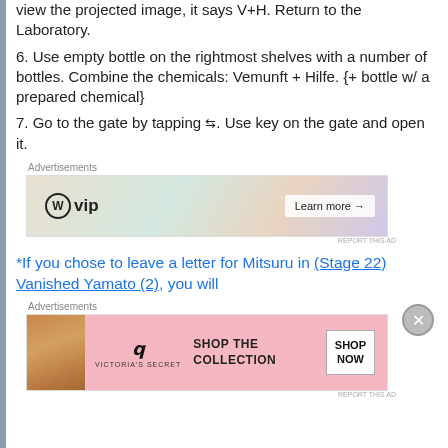view the projected image, it says V+H. Return to the Laboratory.
6. Use empty bottle on the rightmost shelves with a number of bottles. Combine the chemicals: Vemunft + Hilfe. {+ bottle w/ a prepared chemical}
7. Go to the gate by tapping ⇆. Use key on the gate and open it.
[Figure (screenshot): WordPress VIP advertisement banner with 'Learn more' button]
*If you chose to leave a letter for Mitsuru in (Stage 22) Vanished Yamato (2), you will
[Figure (screenshot): Victoria's Secret advertisement banner with 'SHOP NOW' button]